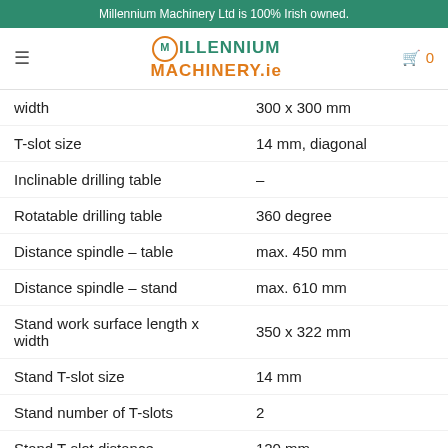Millennium Machinery Ltd is 100% Irish owned.
[Figure (logo): Millennium Machinery.ie logo with circular gear icon in orange and green text]
| Specification | Value |
| --- | --- |
| width | 300 x 300 mm |
| T-slot size | 14 mm, diagonal |
| Inclinable drilling table | – |
| Rotatable drilling table | 360 degree |
| Distance spindle – table | max. 450 mm |
| Distance spindle – stand | max. 610 mm |
| Stand work surface length x width | 350 x 322 mm |
| Stand T-slot size | 14 mm |
| Stand number of T-slots | 2 |
| Stand T-slot distance | 120 mm |
| Column diameter | 82 mm |